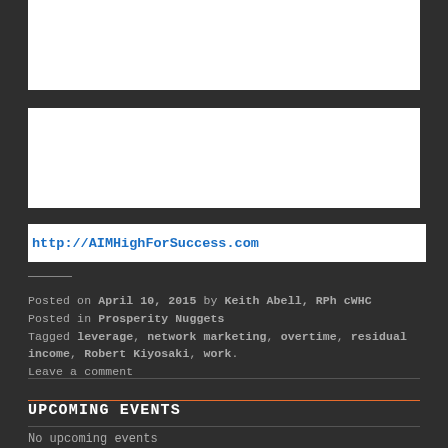[Figure (other): White advertisement box 1 (empty/blank)]
[Figure (other): White advertisement box 2 (empty/blank)]
http://AIMHighForSuccess.com
Posted on April 10, 2015 by Keith Abell, RPh cWHC
Posted in Prosperity Nuggets
Tagged leverage, network marketing, overtime, residual income, Robert Kiyosaki, work.
Leave a comment
UPCOMING EVENTS
No upcoming events